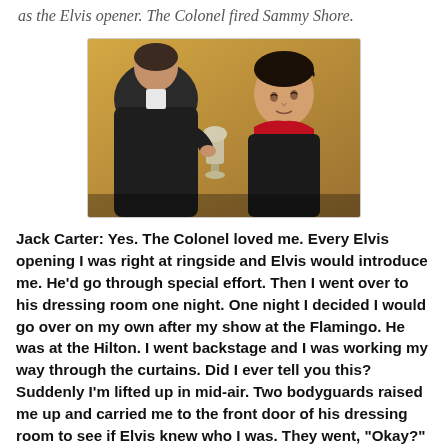as the Elvis opener. The Colonel fired Sammy Shore.
[Figure (photo): A man in a dark suit seen from behind faces Elvis Presley, who is wearing a red scarf and holding what appears to be a trophy or award. They appear to be in a warmly lit indoor setting.]
Jack Carter: Yes. The Colonel loved me. Every Elvis opening I was right at ringside and Elvis would introduce me. He'd go through special effort. Then I went over to his dressing room one night. One night I decided I would go over on my own after my show at the Flamingo. He was at the Hilton. I went backstage and I was working my way through the curtains. Did I ever tell you this? Suddenly I'm lifted up in mid-air. Two bodyguards raised me up and carried me to the front door of his dressing room to see if Elvis knew who I was. They went, "Okay?" and threw me in. I came over unannounced. Elvis had said, "Anytime when